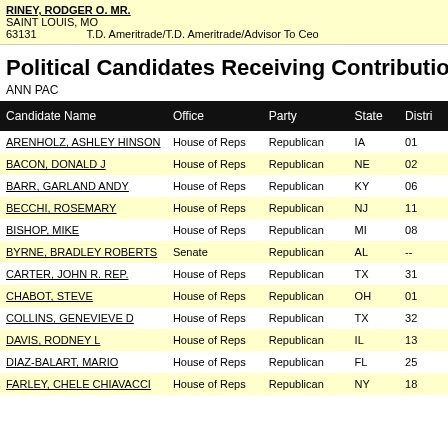RINEY, RODGER O. MR.
SAINT LOUIS, MO
63131    T.D. Ameritrade/T.D. Ameritrade/Advisor To Ceo
Political Candidates Receiving Contributions in the 2020
ANN PAC
| Candidate Name | Office | Party | State | Distri |
| --- | --- | --- | --- | --- |
| ARENHOLZ, ASHLEY HINSON | House of Reps | Republican | IA | 01 |
| BACON, DONALD J | House of Reps | Republican | NE | 02 |
| BARR, GARLAND ANDY | House of Reps | Republican | KY | 06 |
| BECCHI, ROSEMARY | House of Reps | Republican | NJ | 11 |
| BISHOP, MIKE | House of Reps | Republican | MI | 08 |
| BYRNE, BRADLEY ROBERTS | Senate | Republican | AL | -- |
| CARTER, JOHN R. REP. | House of Reps | Republican | TX | 31 |
| CHABOT, STEVE | House of Reps | Republican | OH | 01 |
| COLLINS, GENEVIEVE D | House of Reps | Republican | TX | 32 |
| DAVIS, RODNEY L | House of Reps | Republican | IL | 13 |
| DIAZ-BALART, MARIO | House of Reps | Republican | FL | 25 |
| FARLEY, CHELE CHIAVACCI | House of Reps | Republican | NY | 18 |